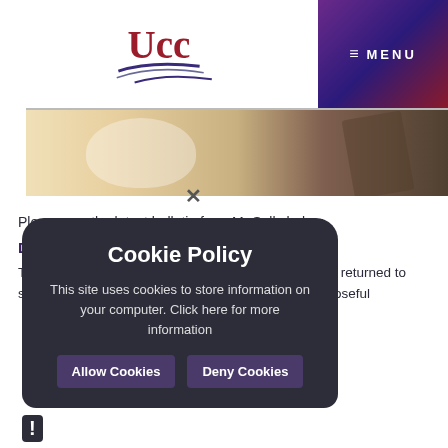[Figure (logo): UCC logo with red text and blue swoosh graphic]
≡ MENU
[Figure (photo): Hero image showing a coffee cup and blurred background objects]
Please see the latest bulletin from Mr Solly below...
Dear UCC Families,
The first week of our final half term of 21/22 has been... returned to school... excellent... walking... and it has been wonderful to see the... purposeful
[Figure (screenshot): Cookie Policy popup overlay with dark rounded background. Title: Cookie Policy. Body: This site uses cookies to store information on your computer. Click here for more information. Buttons: Allow Cookies, Deny Cookies. Close X button at top.]